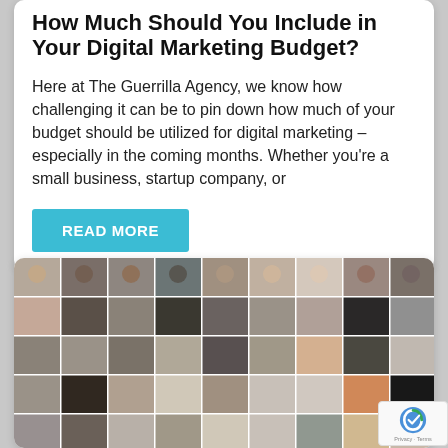How Much Should You Include in Your Digital Marketing Budget?
Here at The Guerrilla Agency, we know how challenging it can be to pin down how much of your budget should be utilized for digital marketing – especially in the coming months. Whether you're a small business, startup company, or
READ MORE
[Figure (photo): A grid collage of many professional headshot photos of various people, arranged in rows and columns.]